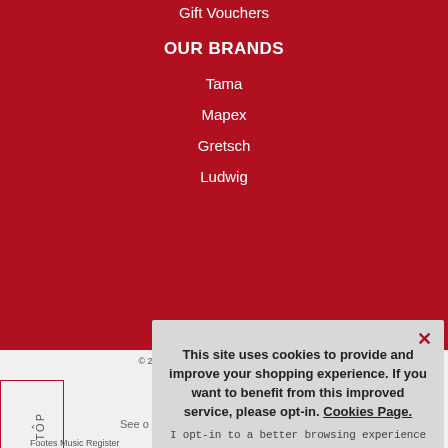Gift Vouchers
OUR BRANDS
Tama
Mapex
Gretsch
Ludwig
© 2022 Footes Music. All Rights Reserved.
See our
Footes Music Register
This site uses cookies to provide and improve your shopping experience. If you want to benefit from this improved service, please opt-in. Cookies Page.
I opt-in to a better browsing experience
ACCEPT COOKIES
Company R